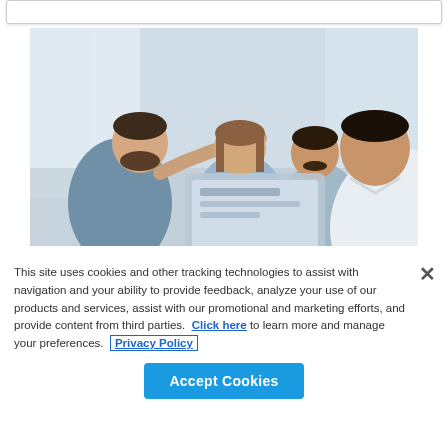[Figure (photo): Group of four office colleagues gathered around a laptop, pointing at screen in a bright office setting]
This site uses cookies and other tracking technologies to assist with navigation and your ability to provide feedback, analyze your use of our products and services, assist with our promotional and marketing efforts, and provide content from third parties.  Click here to learn more and manage your preferences.  Privacy Policy
[Figure (other): Accept Cookies button (blue rounded rectangle)]